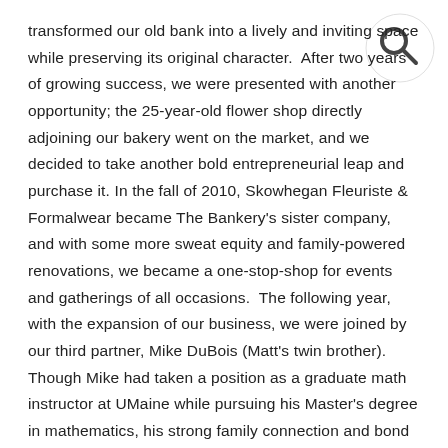transformed our old bank into a lively and inviting space while preserving its original character.  After two years of growing success, we were presented with another opportunity; the 25-year-old flower shop directly adjoining our bakery went on the market, and we decided to take another bold entrepreneurial leap and purchase it. In the fall of 2010, Skowhegan Fleuriste & Formalwear became The Bankery's sister company, and with some more sweat equity and family-powered renovations, we became a one-stop-shop for events and gatherings of all occasions.  The following year, with the expansion of our business, we were joined by our third partner, Mike DuBois (Matt's twin brother). Though Mike had taken a position as a graduate math instructor at UMaine while pursuing his Master's degree in mathematics, his strong family connection and bond with his brother made his decision to alter career paths an easy one. Since then, the three of us – with the unending dedication and support of our employees, families and community – have grown our businesses into a local hub of